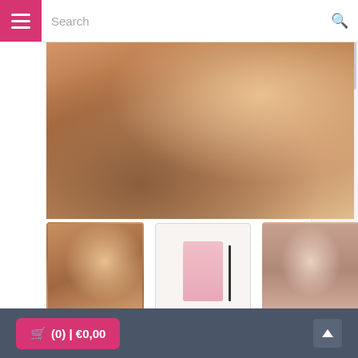Search
[Figure (photo): Close-up photo of a woman's face with blonde hair and pink lips — main product hero image]
[Figure (photo): Thumbnail 1: woman with blonde hair]
[Figure (photo): Thumbnail 2: pink soap product with brush]
[Figure (photo): Thumbnail 3: woman's face with measurement markings on forehead]
Soap Booster
Take absolute control: With this Brow Soap + Brush combo, you can achieve any eyebrow look in an instant, whether it's wild, natural or full of glamour.
BROWLY
(0) | €0,00